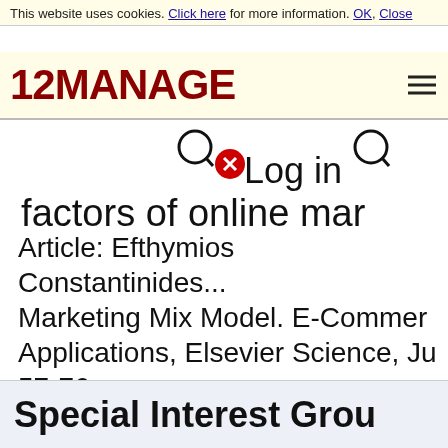This website uses cookies. Click here for more information. OK, Close
[Figure (logo): 12MANAGE logo in dark red bold text with hamburger menu icon]
factors of online mar...
Article: Efthymios Constantinides... Marketing Mix Model. E-Commerce Applications, Elsevier Science, Ju... 57-76
Special Interest Grou...